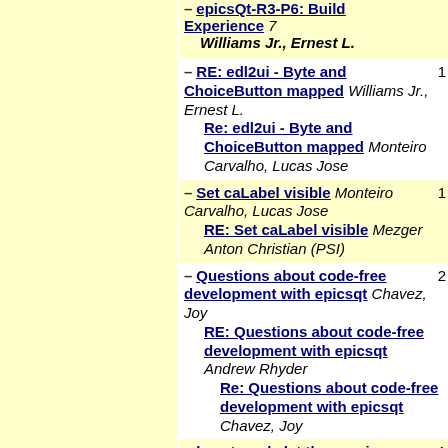epicsQt-R3-P6: Build Experience Williams Jr., Ernest L.
RE: edl2ui - Byte and ChoiceButton mapped Williams Jr., Ernest L. | Re: edl2ui - Byte and ChoiceButton mapped Monteiro Carvalho, Lucas Jose
Set caLabel visible Monteiro Carvalho, Lucas Jose | RE: Set caLabel visible Mezger Anton Christian (PSI)
Questions about code-free development with epicsqt Chavez, Joy | RE: Questions about code-free development with epicsqt Andrew Rhyder | Re: Questions about code-free development with epicsqt Chavez, Joy
how to only let the running environment is displayed in the client? huxq@hhmtc.com | Re: how to only let the running